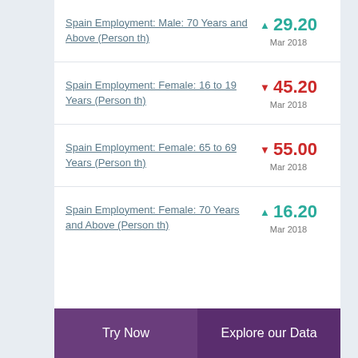Spain Employment: Male: 70 Years and Above (Person th)
Spain Employment: Female: 16 to 19 Years (Person th)
Spain Employment: Female: 65 to 69 Years (Person th)
Spain Employment: Female: 70 Years and Above (Person th)
Try Now | Explore our Data